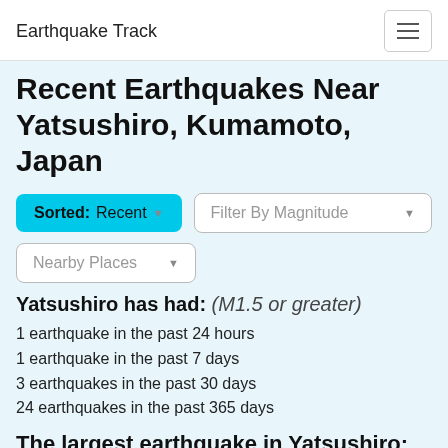Earthquake Track
Recent Earthquakes Near Yatsushiro, Kumamoto, Japan
Sorted: Recent ▾
Filter By Magnitude ▾
Nearby Places ▾
Yatsushiro has had: (M1.5 or greater)
1 earthquake in the past 24 hours
1 earthquake in the past 7 days
3 earthquakes in the past 30 days
24 earthquakes in the past 365 days
The largest earthquake in Yatsushiro:
today: 4.9 in Nichinan, Miyazaki, Japan
this week: 4.9 in Nichinan, Miyazaki, Japan
this month: 4.9 in Nichinan, Miyazaki, Japan